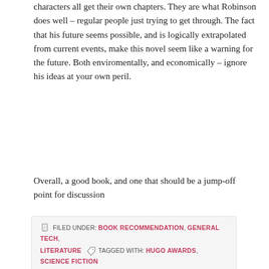characters all get their own chapters. They are what Robinson does well – regular people just trying to get through. The fact that his future seems possible, and is logically extrapolated from current events, make this novel seem like a warning for the future. Both enviromentally, and economically – ignore his ideas at your own peril.
Overall, a good book, and one that should be a jump-off point for discussion
FILED UNDER: BOOK RECOMMENDATION, GENERAL TECH, LITERATURE  TAGGED WITH: HUGO AWARDS, SCIENCE FICTION
Review: Spoonbenders by Daryl Gregory
MAY 20, 2018 BY SHAUN TAYLOR  LEAVE A COMMENT
When a family of psychics